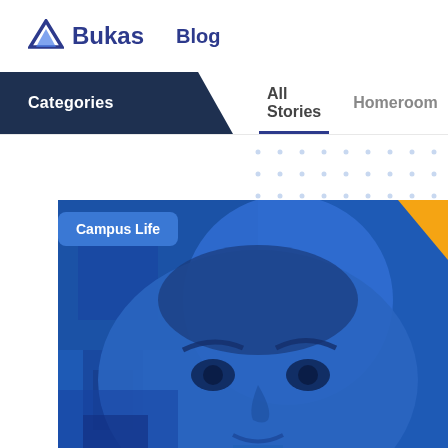Bukas Blog
Categories | All Stories | Homeroom
[Figure (screenshot): Blue-tinted close-up photo of a young student's face with a circular blue graphic overlay and a yellow accent in the top-right corner]
Campus Life